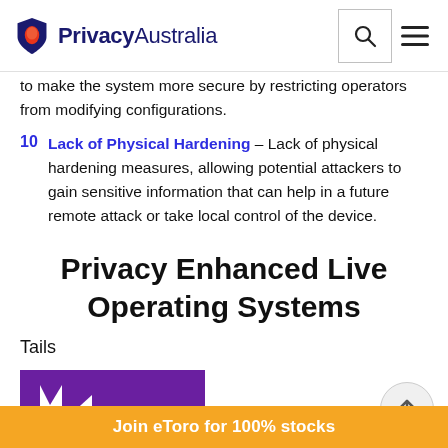PrivacyAustralia
to make the system more secure by restricting operators from modifying configurations.
10 Lack of Physical Hardening – Lack of physical hardening measures, allowing potential attackers to gain sensitive information that can help in a future remote attack or take local control of the device.
Privacy Enhanced Live Operating Systems
Tails
[Figure (logo): Tails OS logo on purple background]
Join eToro for 100% stocks